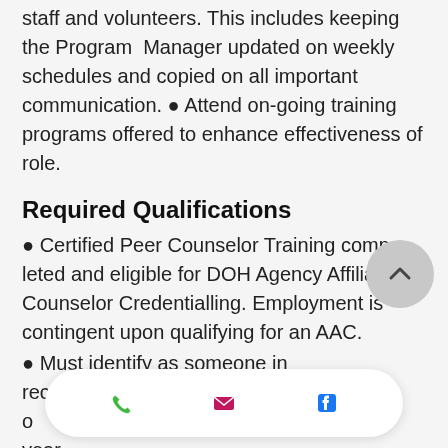staff and volunteers. This includes keeping the Program Manager updated on weekly schedules and copied on all important communication. • Attend on-going training programs offered to enhance effectiveness of role.
Required Qualifications
• Certified Peer Counselor Training completed and eligible for DOH Agency Affiliated Counselor Credentialling. Employment is contingent upon qualifying for an AAC.
• Must identify as someone in recovery and/or co-occurring and for a period of at least one year.